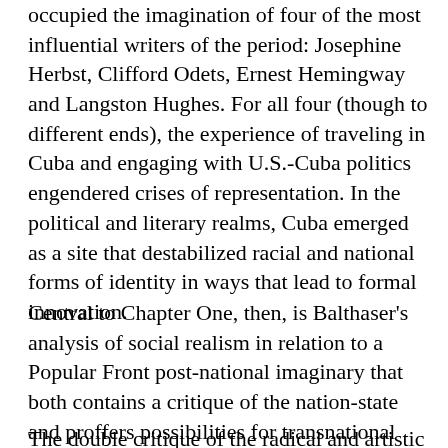occupied the imagination of four of the most influential writers of the period: Josephine Herbst, Clifford Odets, Ernest Hemingway and Langston Hughes. For all four (though to different ends), the experience of traveling in Cuba and engaging with U.S.-Cuba politics engendered crises of representation. In the political and literary realms, Cuba emerged as a site that destabilized racial and national forms of identity in ways that lead to formal innovation.
Central to Chapter One, then, is Balthaser’s analysis of social realism in relation to a Popular Front post-national imaginary that both contains a critique of the nation-state and proffers possibilities for transnational anti-imperialist solidarities. Questions of authenticity underwriting the social realist novel, Balthaser shows, are also questions about the terms of national belonging.
The double critique of the radical and artistic...